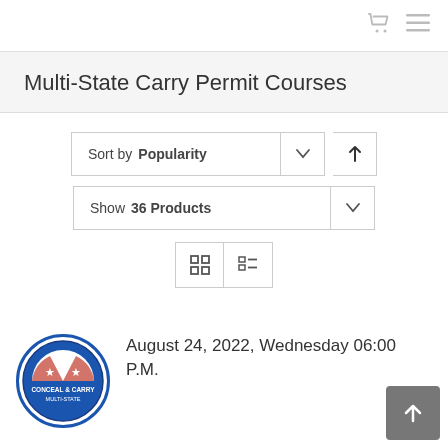Multi-State Carry Permit Courses
Sort by Popularity
Show 36 Products
[Figure (logo): Conceal & Carry Multi-State circular logo with stars and blue/red/white colors]
August 24, 2022, Wednesday 06:00 P.M.